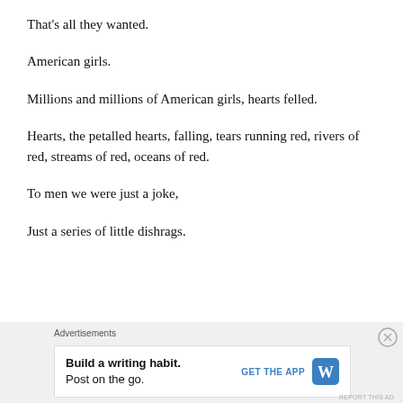That's all they wanted.
American girls.
Millions and millions of American girls, hearts felled.
Hearts, the petalled hearts, falling, tears running red, rivers of red, streams of red, oceans of red.
To men we were just a joke,
Just a series of little dishrags.
Advertisements
Build a writing habit. Post on the go. GET THE APP [WordPress icon]